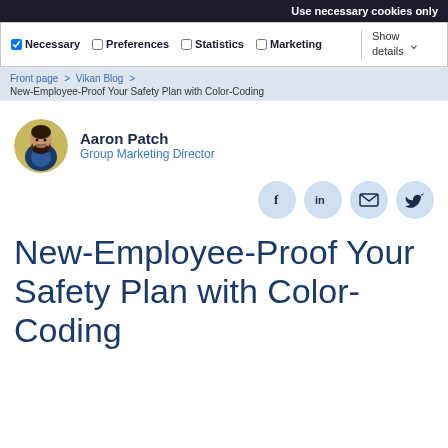Use necessary cookies only
Necessary   Preferences   Statistics   Marketing   Show details
Front page > Vikan Blog >
New-Employee-Proof Your Safety Plan with Color-Coding
Aaron Patch
Group Marketing Director
[Figure (photo): Circular avatar photo of Aaron Patch, a man with a beard wearing a blazer, with a colorful background]
[Figure (infographic): Four social media share icons: Facebook (f), LinkedIn (in), Email (envelope), Twitter (bird)]
New-Employee-Proof Your Safety Plan with Color-Coding